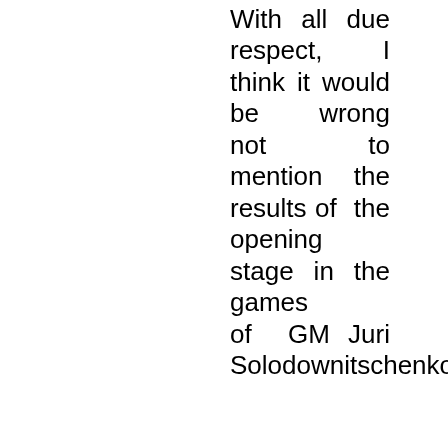With all due respect, I think it would be wrong not to mention the results of the opening stage in the games of GM Juri Solodownitschenko